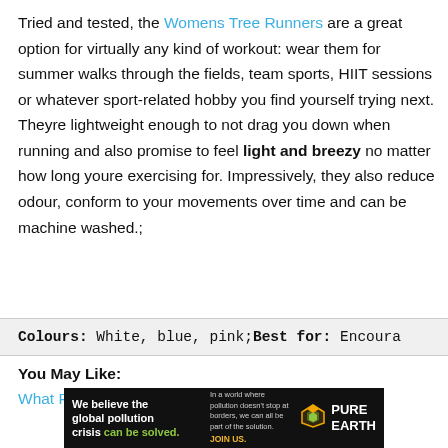Tried and tested, the Womens Tree Runners are a great option for virtually any kind of workout: wear them for summer walks through the fields, team sports, HIIT sessions or whatever sport-related hobby you find yourself trying next. Theyre lightweight enough to not drag you down when running and also promise to feel light and breezy no matter how long youre exercising for. Impressively, they also reduce odour, conform to your movements over time and can be machine washed.;
Colours: White, blue, pink;Best for: Encoura...
You May Like:
What Running Shoes Do Marathon Runners Wear
[Figure (other): Pure Earth advertisement banner: black background, text 'We believe the global pollution crisis can be solved.' with green highlight on 'can be solved.', middle text 'In a world where pollution doesn't stop at borders, we can all be part of the solution. JOIN US.' in yellow, and Pure Earth logo with diamond/leaf icon on right.]